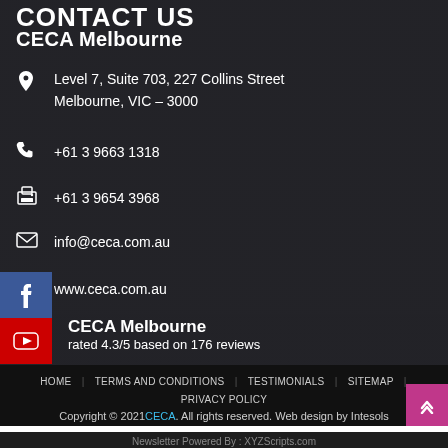CONTACT US
CECA Melbourne
Level 7, Suite 703, 227 Collins Street
Melbourne, VIC – 3000
+61 3 9663 1318
+61 3 9654 3968
info@ceca.com.au
www.ceca.com.au
CECA Melbourne
rated 4.3/5 based on 176 reviews
HOME | TERMS AND CONDITIONS | TESTIMONIALS | SITEMAP | PRIVACY POLICY
Copyright © 2021 CECA. All rights reserved. Web design by Intesols
Newsletter Powered By : XYZScripts.com